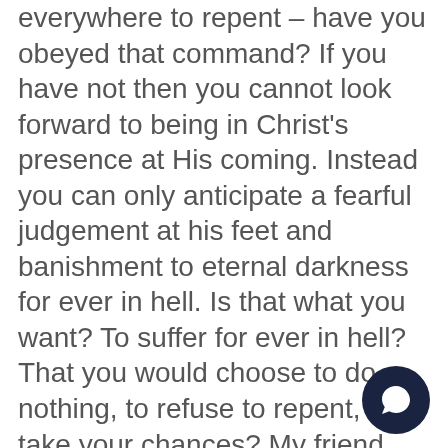everywhere to repent – have you obeyed that command? If you have not then you cannot look forward to being in Christ's presence at His coming. Instead you can only anticipate a fearful judgement at his feet and banishment to eternal darkness for ever in hell. Is that what you want? To suffer for ever in hell? That you would choose to do nothing, to refuse to repent, and take your chances? My friend, think again – and turn to the Lord Jesus Christ today – he is so ready to forgive and to pardon all those who honestly come to Him humbly and honestly for salvation. Finally there is a statement in ve 20. After the Rhetoric of verse 19